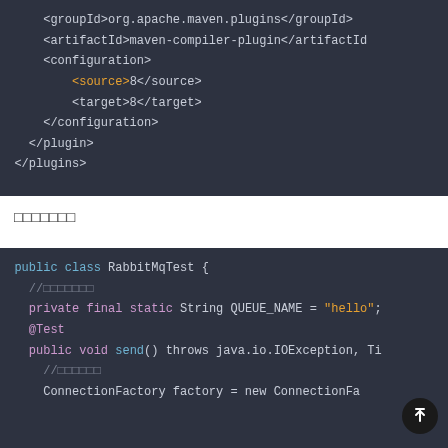[Figure (screenshot): Code block showing XML Maven plugin configuration with groupId, artifactId, configuration, source, target tags on dark background]
测试代码
[Figure (screenshot): Code block showing Java class RabbitMqTest with annotations @Test, private final static String QUEUE_NAME = 'hello', public void send() method on dark background]